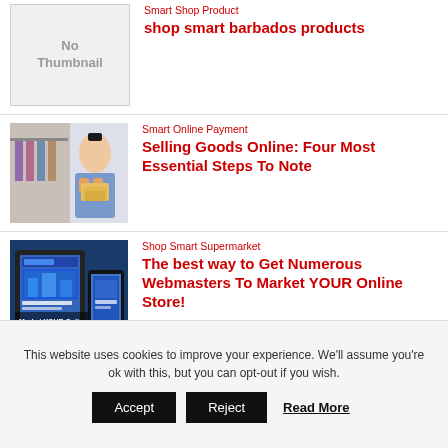[Figure (other): No Thumbnail placeholder image for Smart Shop Product]
Smart Shop Product
shop smart barbados products
[Figure (photo): Woman holding boxes in front of clothing rack]
Smart Online Payment
Selling Goods Online: Four Most Essential Steps To Note
[Figure (photo): Tablet and phone displaying website with Market YOUR Online Store text]
Shop Smart Supermarket
The best way to Get Numerous Webmasters To Market YOUR Online Store!
This website uses cookies to improve your experience. We'll assume you're ok with this, but you can opt-out if you wish.